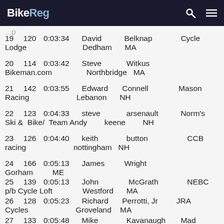BikeReg
19 120 0:03:34 David Belknap Cycle Lodge Dedham MA
20 114 0:03:42 Steve Witkus Bikeman.com Northbridge MA
21 142 0:03:55 Edward Connell Mason Racing Lebanon NH
22 123 0:04:33 steve arsenault Norm's Ski & Bike/ Team Andy keene NH
23 126 0:04:40 keith button CCB racing nottingham NH
24 166 0:05:13 James Wright Gorham ME
25 139 0:05:13 John McGrath NEBC p/b Cycle Loft Westford MA
26 128 0:05:23 Richard Perrotti, Jr JRA Cycles Groveland MA
27 133 0:05:48 Mike Kavanaugh Mad